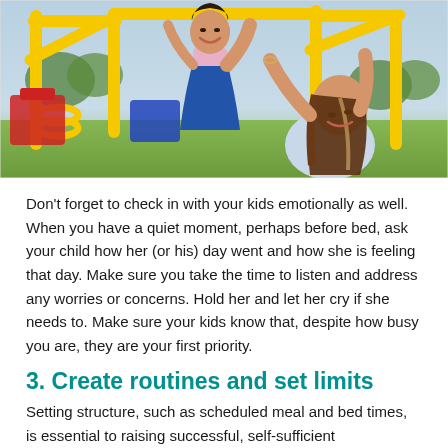[Figure (photo): A woman smiling and holding up a young girl on yellow playground equipment. The child is laughing with arms raised. Colorful playground with red and blue equipment in the background.]
Don't forget to check in with your kids emotionally as well. When you have a quiet moment, perhaps before bed, ask your child how her (or his) day went and how she is feeling that day. Make sure you take the time to listen and address any worries or concerns. Hold her and let her cry if she needs to. Make sure your kids know that, despite how busy you are, they are your first priority.
3. Create routines and set limits
Setting structure, such as scheduled meal and bed times, is essential to raising successful, self-sufficient households…